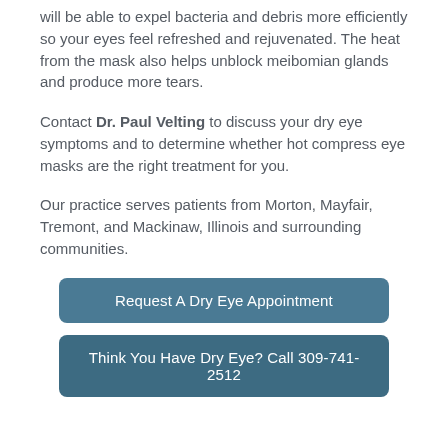will be able to expel bacteria and debris more efficiently so your eyes feel refreshed and rejuvenated. The heat from the mask also helps unblock meibomian glands and produce more tears.
Contact Dr. Paul Velting to discuss your dry eye symptoms and to determine whether hot compress eye masks are the right treatment for you.
Our practice serves patients from Morton, Mayfair, Tremont, and Mackinaw, Illinois and surrounding communities.
Request A Dry Eye Appointment
Think You Have Dry Eye? Call 309-741-2512